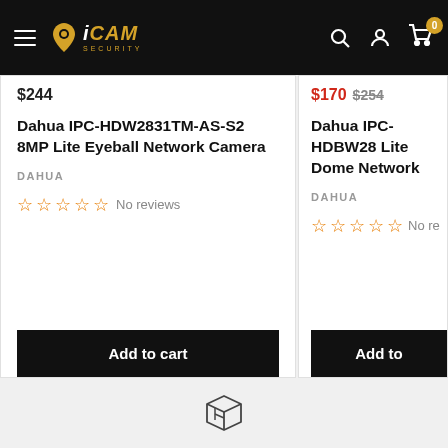iCAM Security — navigation bar with hamburger menu, logo, search, account, and cart (0 items)
$244
Dahua IPC-HDW2831TM-AS-S2 8MP Lite Eyeball Network Camera
DAHUA
☆☆☆☆☆ No reviews
Add to cart
$170  $254
Dahua IPC-HDBW28 Lite Dome Network
DAHUA
☆☆☆☆☆ No re
Add to
[Figure (illustration): Box/package delivery icon in outline style]